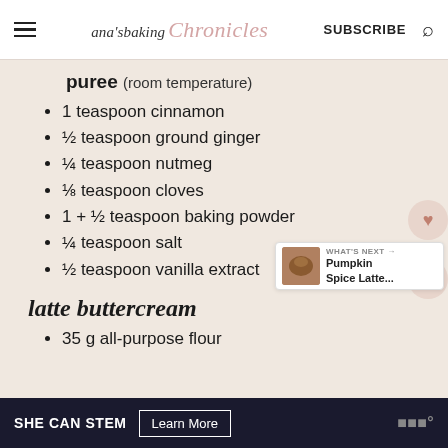ana's baking Chronicles | SUBSCRIBE
puree (room temperature)
1 teaspoon cinnamon
½ teaspoon ground ginger
¼ teaspoon nutmeg
⅛ teaspoon cloves
1 + ½ teaspoon baking powder
¼ teaspoon salt
½ teaspoon vanilla extract
latte buttercream
35 g all-purpose flour
SHE CAN STEM  Learn More